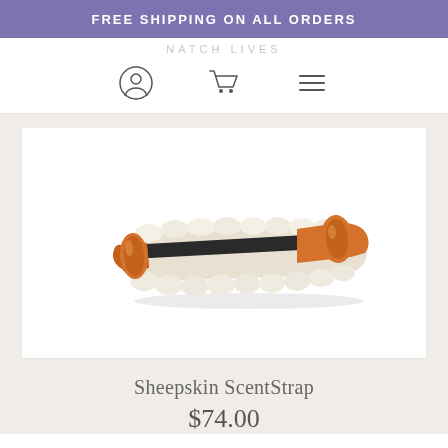FREE SHIPPING ON ALL ORDERS
[Figure (screenshot): Navigation bar with partial brand name and three icons: user account (person silhouette in circle), shopping cart, and hamburger menu.]
[Figure (photo): A sheepskin ScentStrap product — a long brush-like strap with an orange wooden roller and white fluffy sheepskin material wrapped around it, shown on white background.]
Sheepskin ScentStrap
$74.00